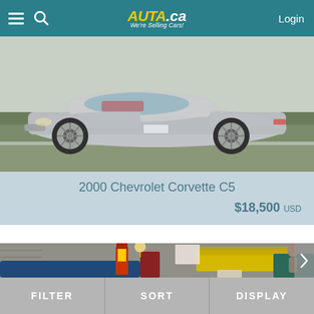AUTA.ca We're Selling Cars! Login
[Figure (photo): Silver Chevrolet Corvette C5 sports car parked outdoors, convertible with red interior]
2000 Chevrolet Corvette C5
$18,500 USD
[Figure (photo): Garage/show interior scene with blue car in foreground, yellow car with open hood in background, vintage gas pump, red cabinet, and various automotive items]
FILTER   SORT   DISPLAY